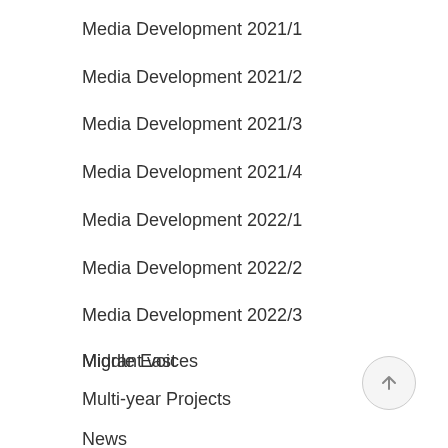Media Development 2021/1
Media Development 2021/2
Media Development 2021/3
Media Development 2021/4
Media Development 2022/1
Media Development 2022/2
Media Development 2022/3
Middle East
Migrant voices
Multi-year Projects
News